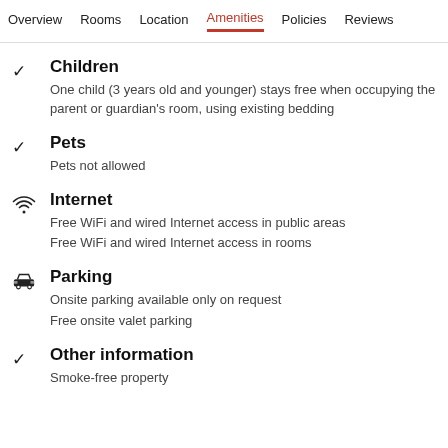Overview  Rooms  Location  Amenities  Policies  Reviews
Children
One child (3 years old and younger) stays free when occupying the parent or guardian's room, using existing bedding
Pets
Pets not allowed
Internet
Free WiFi and wired Internet access in public areas
Free WiFi and wired Internet access in rooms
Parking
Onsite parking available only on request
Free onsite valet parking
Other information
Smoke-free property